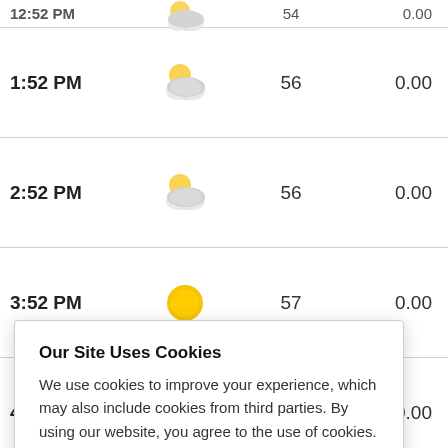| Time | Icon | Temp | Precip |
| --- | --- | --- | --- |
| 12:52 PM | (partly cloudy icon) | 54 | 0.00 |
| 1:52 PM | (partly cloudy icon) | 56 | 0.00 |
| 2:52 PM | (partly cloudy icon) | 56 | 0.00 |
| 3:52 PM | (sunny icon) | 57 | 0.00 |
| 4:52 PM | (sunny icon) | 59 | 0.00 |
|  |  |  | 0.00 |
|  |  |  | 0.00 |
|  |  |  | 0.00 |
|  |  |  | 0.00 |
[Figure (screenshot): Cookie consent popup: 'Our Site Uses Cookies' with text about cookies and a link to privacy policy, and an 'ACCEPT & CLOSE' button.]